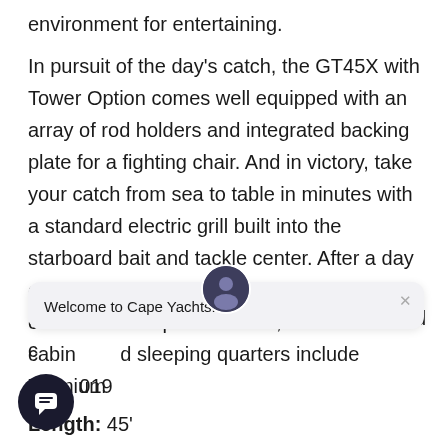environment for entertaining.
In pursuit of the day’s catch, the GT45X with Tower Option comes well equipped with an array of rod holders and integrated backing plate for a fighting chair. And in victory, take your catch from sea to table in minutes with a standard electric grill built into the starboard bait and tackle center. After a day of play, the GT45X with Tower Option continues to impress. Inside, the main cabin and sleeping quarters include premium [text partially obscured] and an integrated [text partially obscured]
[Figure (screenshot): Chat overlay popup showing avatar of a person, close X button, and text 'Welcome to Cape Yachts.']
Year: 2019
Length: 45'